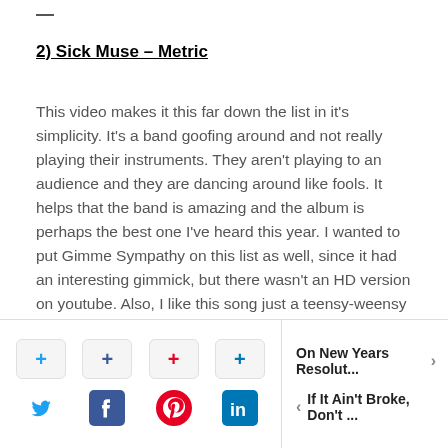2) Sick Muse – Metric
This video makes it this far down the list in it's simplicity. It's a band goofing around and not really playing their instruments. They aren't playing to an audience and they are dancing around like fools. It helps that the band is amazing and the album is perhaps the best one I've heard this year. I wanted to put Gimme Sympathy on this list as well, since it had an interesting gimmick, but there wasn't an HD version on youtube. Also, I like this song just a teensy-weensy bit more.
[Figure (infographic): Social sharing buttons: Twitter, Facebook, Pinterest, LinkedIn with plus icons above each]
On New Years Resolut...
If It Ain't Broke, Don't ...